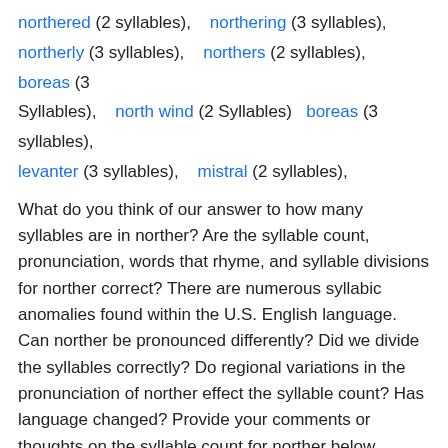northered (2 syllables),   northering (3 syllables),   northerly (3 syllables),   northers (2 syllables),   boreas (3 Syllables),   north wind (2 Syllables)   boreas (3 syllables),   levanter (3 syllables),   mistral (2 syllables),
What do you think of our answer to how many syllables are in norther? Are the syllable count, pronunciation, words that rhyme, and syllable divisions for norther correct? There are numerous syllabic anomalies found within the U.S. English language. Can norther be pronounced differently? Did we divide the syllables correctly? Do regional variations in the pronunciation of norther effect the syllable count? Has language changed? Provide your comments or thoughts on the syllable count for norther below.
Comment on the syllables in Norther